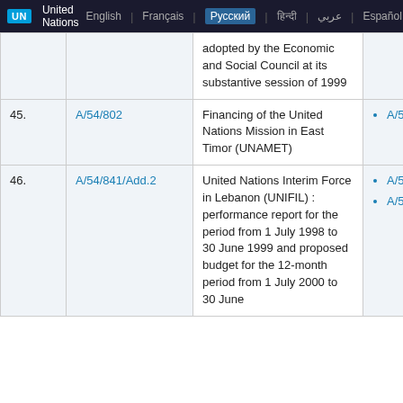UN | United Nations | English | Français | Русский | हिन्दी | عربي | Español
|  | Document | Description | Resolutions/Decisions |
| --- | --- | --- | --- |
|  |  | adopted by the Economic and Social Council at its substantive session of 1999 |  |
| 45. | A/54/802 | Financing of the United Nations Mission in East Timor (UNAMET) | A/54/7... |
| 46. | A/54/841/Add.2 | United Nations Interim Force in Lebanon (UNIFIL) : performance report for the period from 1 July 1998 to 30 June 1999 and proposed budget for the 12-month period from 1 July 2000 to 30 June | A/54/7..., A/54/7... |